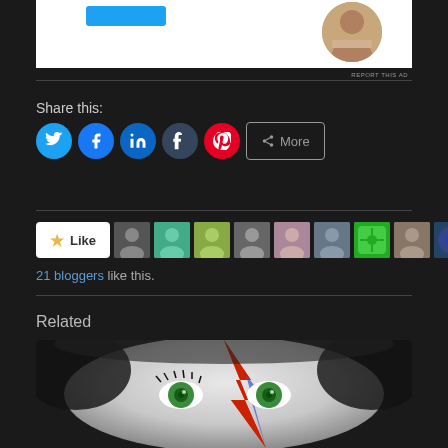[Figure (photo): Advertisement banner with a blue button and a circular photo of a person at a desk]
REPORT THIS AD
Share this:
[Figure (infographic): Social sharing buttons: Twitter (blue circle), Facebook (blue circle), LinkedIn (blue circle), Tumblr (dark circle), Pinterest (red circle), and a More button]
[Figure (infographic): Like button with star icon followed by 9 blogger avatar thumbnails]
21 bloggers like this.
Related
[Figure (photo): Close-up photo of a face painted like David Bowie's Ziggy Stardust character with a red and blue lightning bolt and green eyes]